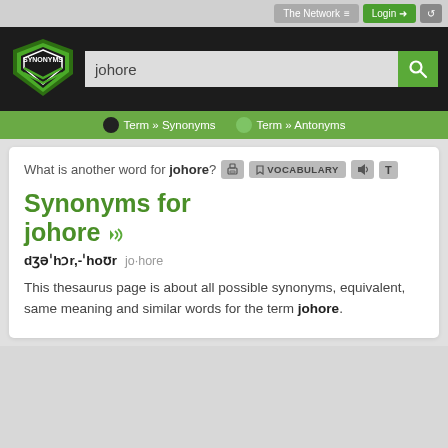The Network  Login
[Figure (logo): Synonyms.com shield logo with green and white design]
johore [search input]
Term » Synonyms   Term » Antonyms
What is another word for johore?
Synonyms for johore
dʒəˈhɔr,-ˈhoʊr   jo·hore
This thesaurus page is about all possible synonyms, equivalent, same meaning and similar words for the term johore.